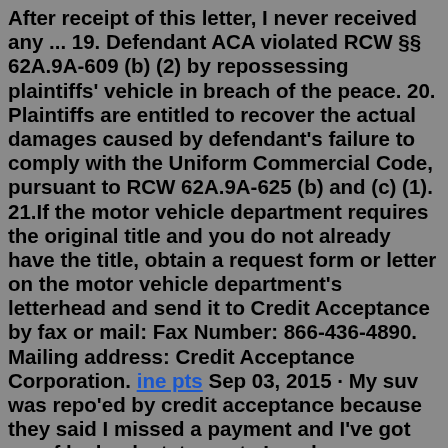After receipt of this letter, I never received any ... 19. Defendant ACA violated RCW §§ 62A.9A-609 (b) (2) by repossessing plaintiffs' vehicle in breach of the peace. 20. Plaintiffs are entitled to recover the actual damages caused by defendant's failure to comply with the Uniform Commercial Code, pursuant to RCW 62A.9A-625 (b) and (c) (1). 21.If the motor vehicle department requires the original title and you do not already have the title, obtain a request form or letter on the motor vehicle department's letterhead and send it to Credit Acceptance by fax or mail: Fax Number: 866-436-4890. Mailing address: Credit Acceptance Corporation. ine pts Sep 03, 2015 · My suv was repo'ed by credit acceptance because they said I missed a payment and I've got proof by bank statements I made every payment. Now they sold it and passed the carged on to me, messed my credit up and STILL taking out the amount of loan via bank draft and I have nothing to drive. I may have paid on the suv maybe 8 months with no ... Aug 10, 2010 ·